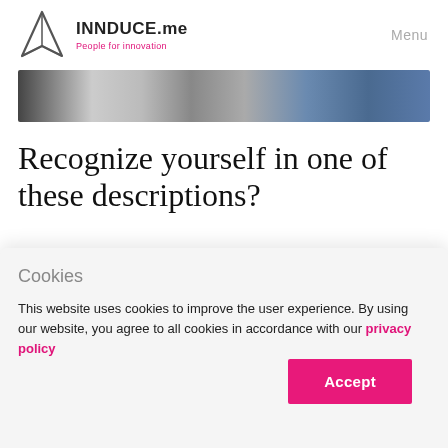INNDUCE.me — People for innovation — Menu
[Figure (photo): Horizontal banner strip showing a collage of photos including people and office/workspace scenes]
Recognize yourself in one of these descriptions?
Cookies
This website uses cookies to improve the user experience. By using our website, you agree to all cookies in accordance with our privacy policy
Accept